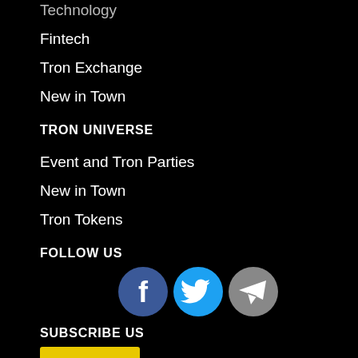Technology
Fintech
Tron Exchange
New in Town
TRON UNIVERSE
Event and Tron Parties
New in Town
Tron Tokens
FOLLOW US
[Figure (illustration): Three social media icons: Facebook (dark blue circle with 'f'), Twitter (blue circle with bird), Telegram (grey circle with paper plane)]
SUBSCRIBE US
[Figure (illustration): Yellow subscribe button]